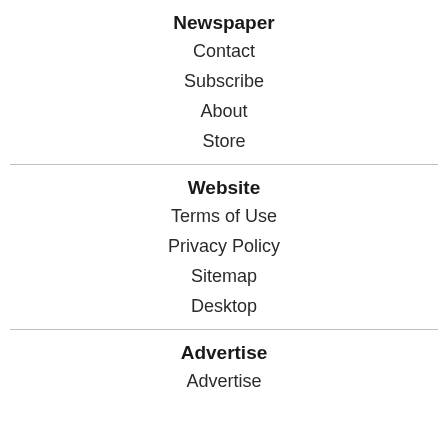Newspaper
Contact
Subscribe
About
Store
Website
Terms of Use
Privacy Policy
Sitemap
Desktop
Advertise
Advertise